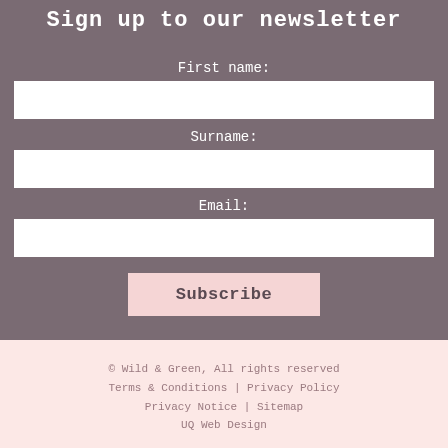Sign up to our newsletter
First name:
Surname:
Email:
Subscribe
© Wild & Green, All rights reserved
Terms & Conditions | Privacy Policy
Privacy Notice | Sitemap
UQ Web Design
Back to top